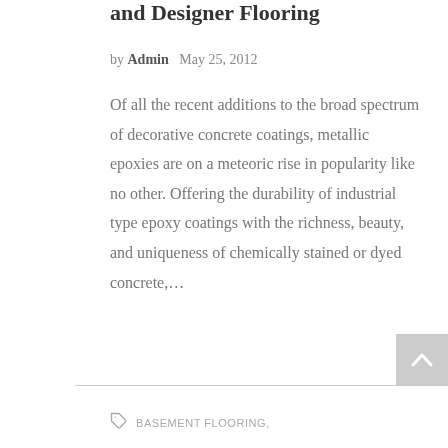and Designer Flooring
by Admin   May 25, 2012
Of all the recent additions to the broad spectrum of decorative concrete coatings, metallic epoxies are on a meteoric rise in popularity like no other. Offering the durability of industrial type epoxy coatings with the richness, beauty, and uniqueness of chemically stained or dyed concrete,…
BASEMENT FLOORING,